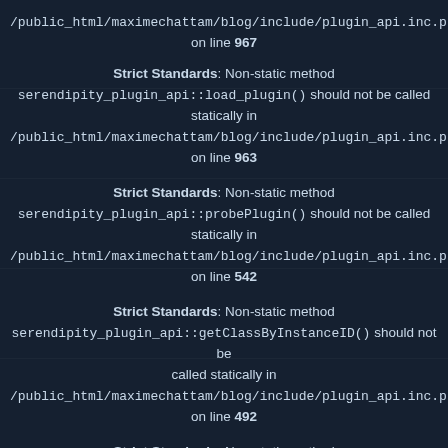/public_html/maximechattam/blog/include/plugin_api.inc.p on line 967
Strict Standards: Non-static method serendipity_plugin_api::load_plugin() should not be called statically in /public_html/maximechattam/blog/include/plugin_api.inc.p on line 963
Strict Standards: Non-static method serendipity_plugin_api::probePlugin() should not be called statically in /public_html/maximechattam/blog/include/plugin_api.inc.p on line 542
Strict Standards: Non-static method serendipity_plugin_api::getClassByInstanceID() should not be called statically in /public_html/maximechattam/blog/include/plugin_api.inc.p on line 492
Strict Standards: Non-static method serendipity_plugin_api::includePlugin() should not be called statically in /public_html/maximechattam/blog/include/plugin_api.inc.p on line 497